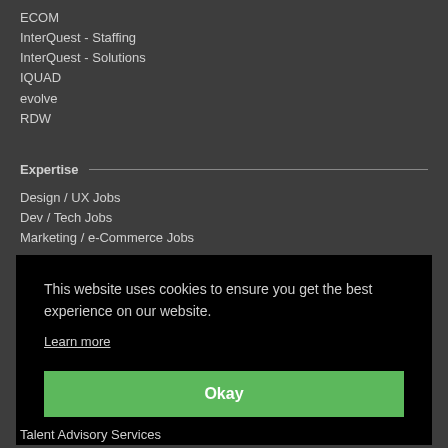ECOM
InterQuest - Staffing
InterQuest - Solutions
IQUAD
evolve
RDW
Expertise
Design / UX Jobs
Dev / Tech Jobs
Marketing / e-Commerce Jobs
This website uses cookies to ensure you get the best experience on our website.
Learn more
Okay
Talent Advisory Services